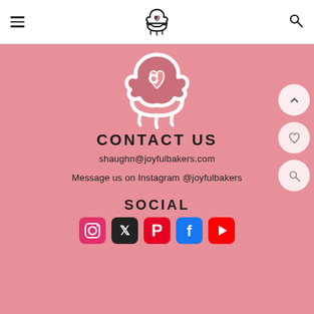Joyful Bakers - header with hamburger menu, logo, and search icon
[Figure (logo): Large cupcake/bakery logo in white on pink background]
CONTACT US
shaughn@joyfulbakers.com
Message us on Instagram @joyfulbakers
SOCIAL
[Figure (illustration): Social media icons row: Instagram (pink), X/Twitter (black), Pinterest (red), Facebook (blue), YouTube (red)]